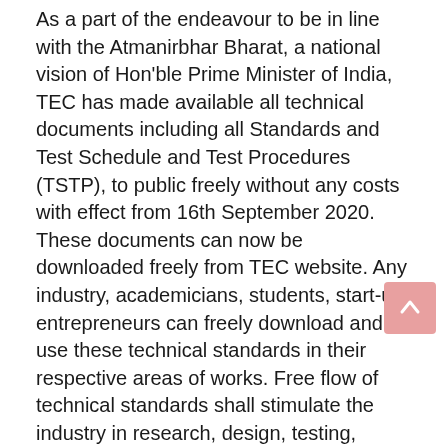As a part of the endeavour to be in line with the Atmanirbhar Bharat, a national vision of Hon'ble Prime Minister of India, TEC has made available all technical documents including all Standards and Test Schedule and Test Procedures (TSTP), to public freely without any costs with effect from 16th September 2020. These documents can now be downloaded freely from TEC website. Any industry, academicians, students, start-up entrepreneurs can freely download and use these technical standards in their respective areas of works. Free flow of technical standards shall stimulate the industry in research, design, testing, manufacturing, etc.
From October 2019, TEC has started Conformance Testing and Certification against Essential Requirements, under Mandatory Testing & Certification of Telecom Equipment (MTCTE) Scheme. The Indian Telegraph (Amendment) Rules, 2017, provides that every telecom equipment must undergo prior mandatory testing and certification. TEC is the nodal agency for MTCTE and testing is carried out by